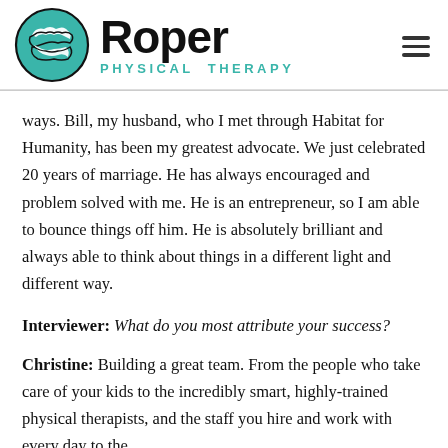Roper Physical Therapy
ways. Bill, my husband, who I met through Habitat for Humanity, has been my greatest advocate. We just celebrated 20 years of marriage. He has always encouraged and problem solved with me. He is an entrepreneur, so I am able to bounce things off him. He is absolutely brilliant and always able to think about things in a different light and different way.
Interviewer: What do you most attribute your success?
Christine: Building a great team. From the people who take care of your kids to the incredibly smart, highly-trained physical therapists, and the staff you hire and work with every day to the